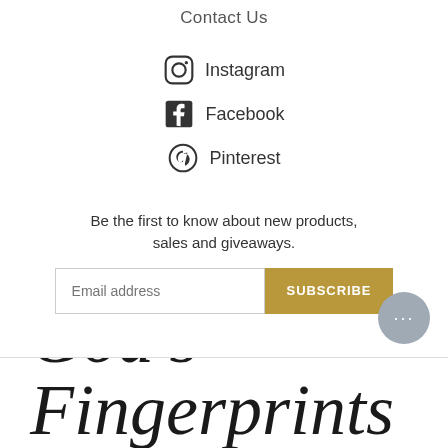Contact Us
Instagram
Facebook
Pinterest
Be the first to know about new products, sales and giveaways.
Email address  SUBSCRIBE
[Figure (logo): God's Fingerprints brand script logo text at the bottom of the page]
[Figure (other): Chat support bubble button with three dots, grey circle, bottom right corner]